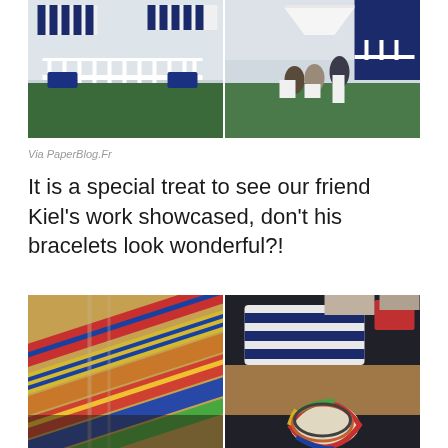[Figure (photo): Two side-by-side photos of an outdoor event with navy and white striped awnings, white railing structures, green grass, and people socializing]
Via PaperBlog.Fr
It is a special treat to see our friend Kiel's work showcased, don't his bracelets look wonderful?!
[Figure (photo): Two side-by-side close-up photos of colorful woven bracelets/jewelry displayed at an event]